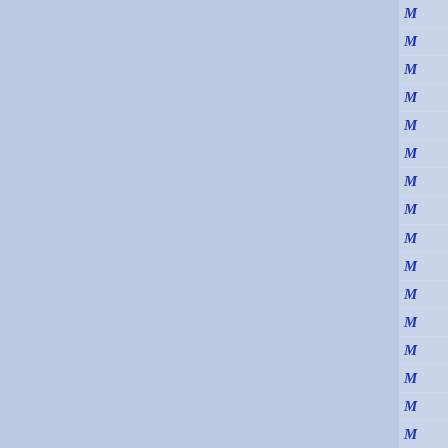[Figure (other): A page layout showing two large light blue panels separated by a white vertical divider, with a right sidebar containing 16 rows of italic blue 'M' navigation items separated by thin horizontal lines.]